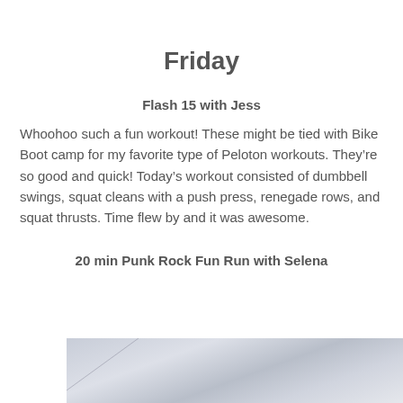Friday
Flash 15 with Jess
Whoohoo such a fun workout! These might be tied with Bike Boot camp for my favorite type of Peloton workouts. They’re so good and quick! Today’s workout consisted of dumbbell swings, squat cleans with a push press, renegade rows, and squat thrusts. Time flew by and it was awesome.
20 min Punk Rock Fun Run with Selena
[Figure (photo): Partially visible outdoor sky/running photo with a diagonal line across a blurred blue-grey cloudy sky background]